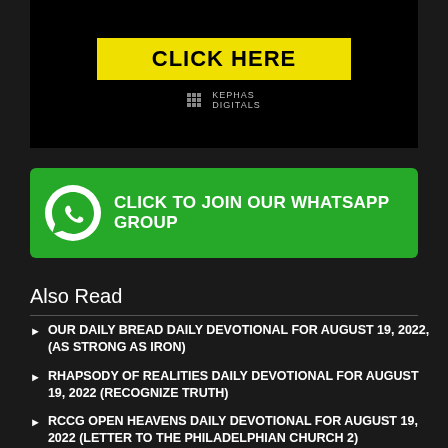[Figure (screenshot): Black banner with yellow CLICK HERE button and Kephas Digitals logo below it]
[Figure (infographic): Green WhatsApp banner with phone icon and text CLICK TO JOIN OUR WHATSAPP GROUP]
Also Read
OUR DAILY BREAD DAILY DEVOTIONAL FOR AUGUST 19, 2022, (AS STRONG AS IRON)
RHAPSODY OF REALITIES DAILY DEVOTIONAL FOR AUGUST 19, 2022 (RECOGNIZE TRUTH)
RCCG OPEN HEAVENS DAILY DEVOTIONAL FOR AUGUST 19, 2022 (LETTER TO THE PHILADELPHIAN CHURCH 2)